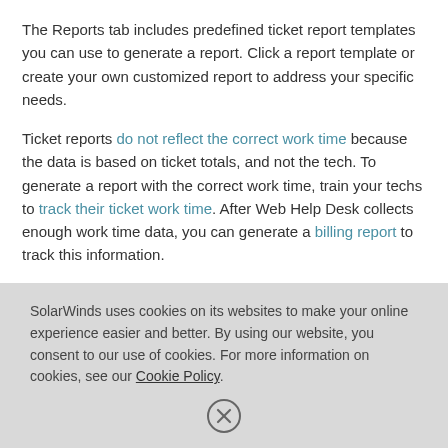The Reports tab includes predefined ticket report templates you can use to generate a report. Click a report template or create your own customized report to address your specific needs.
Ticket reports do not reflect the correct work time because the data is based on ticket totals, and not the tech. To generate a report with the correct work time, train your techs to track their ticket work time. After Web Help Desk collects enough work time data, you can generate a billing report to track this information.
To generate a list of software products running on computer systems in your deployment, create a custom report.
SolarWinds uses cookies on its websites to make your online experience easier and better. By using our website, you consent to our use of cookies. For more information on cookies, see our Cookie Policy.